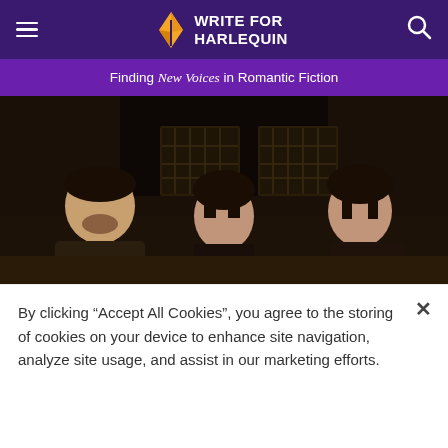WRITE FOR HARLEQUIN
Finding New Voices in Romantic Fiction
[Figure (photo): Three people in period/historical costume against a dark interior with latticed windows — one man on the left, a woman in the center, and a woman on the right]
By clicking “Accept All Cookies”, you agree to the storing of cookies on your device to enhance site navigation, analyze site usage, and assist in our marketing efforts.